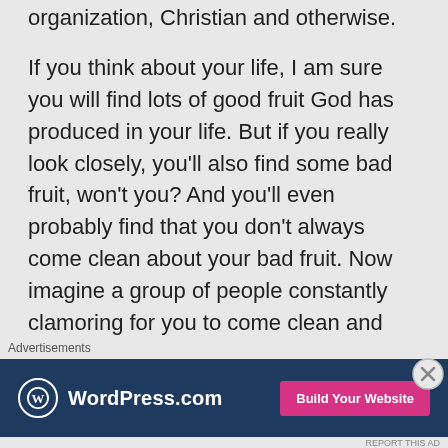organization, Christian and otherwise.

If you think about your life, I am sure you will find lots of good fruit God has produced in your life. But if you really look closely, you'll also find some bad fruit, won't you? And you'll even probably find that you don't always come clean about your bad fruit. Now imagine a group of people constantly clamoring for you to come clean and then any time you make an attempt to come
Advertisements
[Figure (other): WordPress.com advertisement banner with logo on dark blue background and pink 'Build Your Website' button]